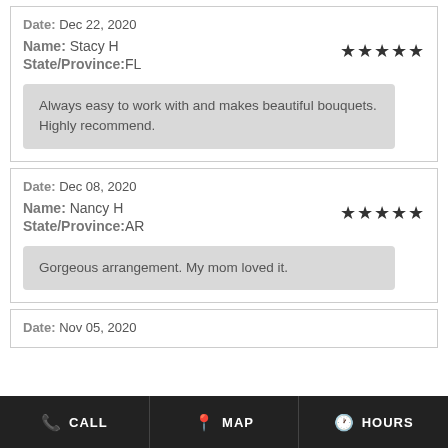Date: Dec 22, 2020
Name: Stacy H
State/Province: FL
Always easy to work with and makes beautiful bouquets. Highly recommend.
Date: Dec 08, 2020
Name: Nancy H
State/Province: AR
Gorgeous arrangement. My mom loved it.
Date: Nov 05, 2020
CALL  MAP  HOURS